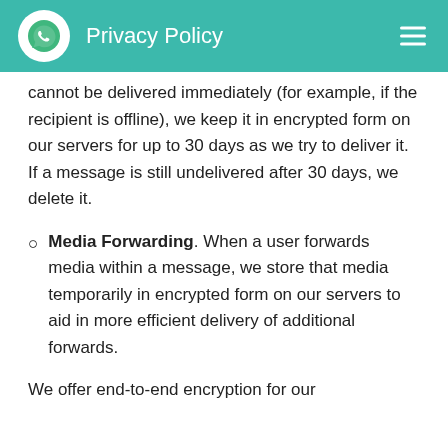Privacy Policy
cannot be delivered immediately (for example, if the recipient is offline), we keep it in encrypted form on our servers for up to 30 days as we try to deliver it. If a message is still undelivered after 30 days, we delete it.
Media Forwarding. When a user forwards media within a message, we store that media temporarily in encrypted form on our servers to aid in more efficient delivery of additional forwards.
We offer end-to-end encryption for our